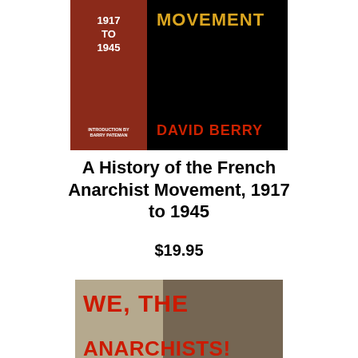[Figure (photo): Book cover of 'A History of the French Anarchist Movement, 1917 to 1945' by David Berry. Left panel is dark red with dates 1917 to 1945 and text 'Introduction by Barry Pateman'. Right panel is black with 'MOVEMENT' in gold and 'DAVID BERRY' in red.]
A History of the French Anarchist Movement, 1917 to 1945
$19.95
[Figure (photo): Book cover of 'We, the Anarchists! A Study of the Iberian Anarchist Federation (FAI) 1927-1937'. Red bold text on a sepia/tan background with a dark silhouette figure on the right.]